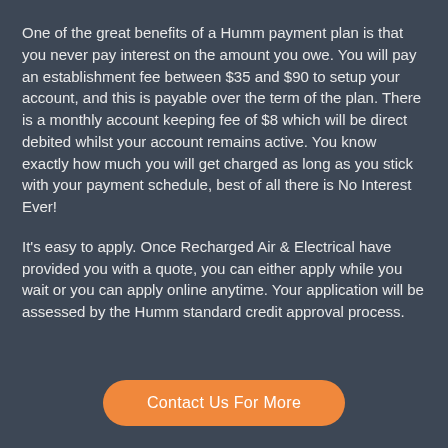One of the great benefits of a Humm payment plan is that you never pay interest on the amount you owe. You will pay an establishment fee between $35 and $90 to setup your account, and this is payable over the term of the plan. There is a monthly account keeping fee of $8 which will be direct debited whilst your account remains active. You know exactly how much you will get charged as long as you stick with your payment schedule, best of all there is No Interest Ever!
It's easy to apply. Once Recharged Air & Electrical have provided you with a quote, you can either apply while you wait or you can apply online anytime. Your application will be assessed by the Humm standard credit approval process.
Contact Us For More